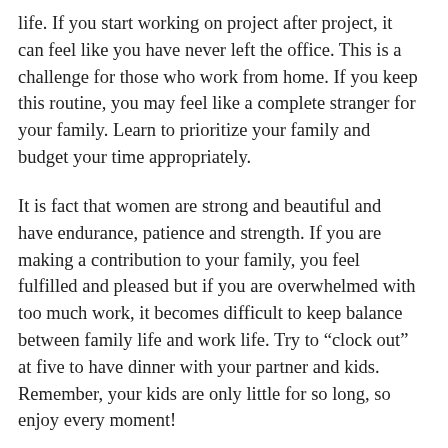life. If you start working on project after project, it can feel like you have never left the office. This is a challenge for those who work from home. If you keep this routine, you may feel like a complete stranger for your family. Learn to prioritize your family and budget your time appropriately.
It is fact that women are strong and beautiful and have endurance, patience and strength. If you are making a contribution to your family, you feel fulfilled and pleased but if you are overwhelmed with too much work, it becomes difficult to keep balance between family life and work life. Try to “clock out” at five to have dinner with your partner and kids. Remember, your kids are only little for so long, so enjoy every moment!
Make your life special by keeping the natural trend going on. Keep it close by caring your family in best possible ways. As a mother you play a pivotal role in your family’s lives. If you tend to be house wife and business women, learn to create a way to